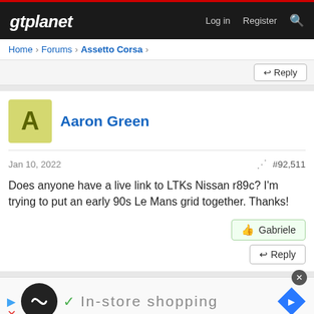gtplanet — Log in  Register
Home > Forums > Assetto Corsa >
Aaron Green
Jan 10, 2022   #92,511
Does anyone have a live link to LTKs Nissan r89c? I'm trying to put an early 90s Le Mans grid together. Thanks!
Gabriele
Reply
[Figure (infographic): Advertisement banner with In-store shopping text, loop icon, play button, checkmark, and navigation diamond icon]